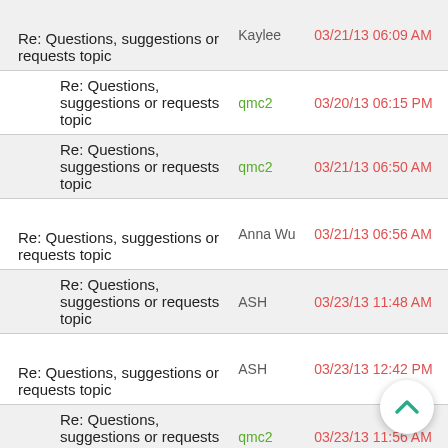Re: Questions, suggestions or requests topic — Kaylee — 03/21/13 06:09 AM
Re: Questions, suggestions or requests topic — qmc2 — 03/20/13 06:15 PM
Re: Questions, suggestions or requests topic — qmc2 — 03/21/13 06:50 AM
Re: Questions, suggestions or requests topic — Anna Wu — 03/21/13 06:56 AM
Re: Questions, suggestions or requests topic — ASH — 03/23/13 11:48 AM
Re: Questions, suggestions or requests topic — ASH — 03/23/13 12:42 PM
Re: Questions, suggestions or requests topic — qmc2 — 03/23/13 11:56 AM
Re: Questions, suggestions or requests topic — qmc2 — 03/23/13 12:26 PM
Re: Questions, suggestions or requests topic — qmc2 — 03/23/13 12:48 PM
Re: Questions, — ASH — 03/23/13 01:00 PM